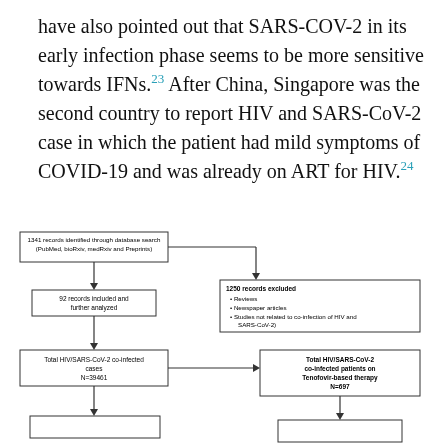have also pointed out that SARS-COV-2 in its early infection phase seems to be more sensitive towards IFNs.23 After China, Singapore was the second country to report HIV and SARS-CoV-2 case in which the patient had mild symptoms of COVID-19 and was already on ART for HIV.24
[Figure (flowchart): PRISMA-style flowchart showing: 1341 records identified through database search (PubMed, bioRxiv, medRxiv and Preprints) -> 1250 records excluded (Reviews, Newspaper articles, Studies not related to co-infection of HIV and SARS-CoV-2) and -> 92 records included and further analyzed -> Total HIV/SARS-CoV-2 co-infected cases N=39461 -> Total HIV/SARS-CoV-2 co-infected patients on Tenofovir-based therapy N=697]